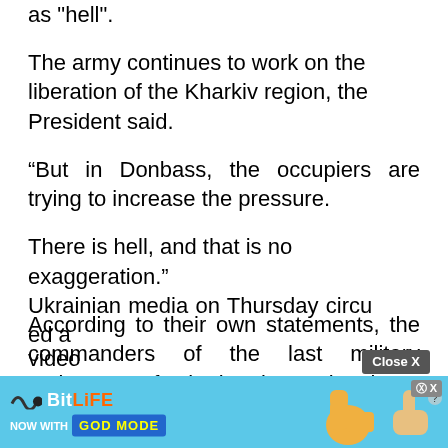as "hell".
The army continues to work on the liberation of the Kharkiv region, the President said.
“But in Donbass, the occupiers are trying to increase the pressure.
There is hell, and that is no exaggeration.”
According to their own statements, the commanders of the last military resistance of Ukraine in Mariupol are still in the Azovstal Steel Plant.
Ukrainian media on Thursday circulated a video                                              Azov
[Figure (screenshot): Close X button and BitLife advertisement banner with 'NOW WITH GOD MODE' text and illustrated hand/thumb graphics]